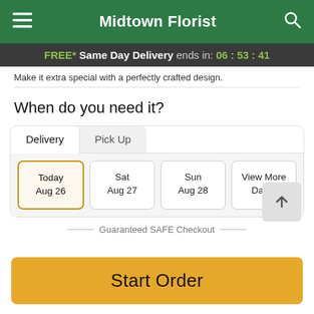Midtown Florist
FREE* Same Day Delivery ends in: 06 : 53 : 41
Make it extra special with a perfectly crafted design.
When do you need it?
[Figure (screenshot): Delivery date selector with tabs (Delivery / Pick Up) and date buttons: Today Aug 26 (selected), Sat Aug 27, Sun Aug 28, View More Dates]
Guaranteed SAFE Checkout
Start Order